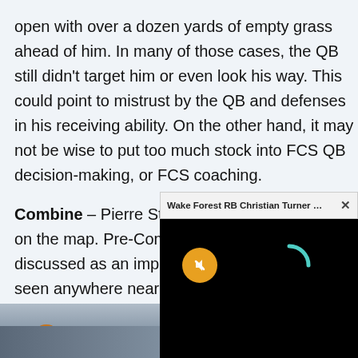open with over a dozen yards of empty grass ahead of him. In many of those cases, the QB still didn't target him or even look his way. This could point to mistrust by the QB and defenses in his receiving ability. On the other hand, it may not be wise to put too much stock into FCS QB decision-making, or FCS coaching.
Combine – Pierre Strong Jr's Combine put him on the map. Pre-Combine, he was hardly discussed as an impact... seen anywhere ne... many scouts are r... placing him as a T...
[Figure (screenshot): Video popup overlay: title bar reading 'Wake Forest RB Christian Turner Sc...' with a close X button, black video area with a yellow muted/speaker button icon and a teal loading spinner arc.]
[Figure (photo): Partial photo at the bottom of the page showing football players, partially obscured by the video overlay.]